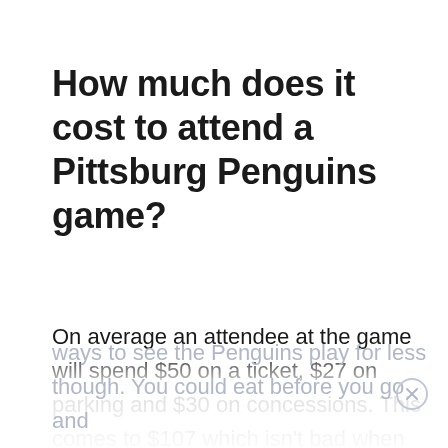How much does it cost to attend a Pittsburg Penguins game?
On average an attendee at the game will spend $50 on a ticket, $27 on parking and $30 on concessions. This comes to $107 which isn't bad when you consider how much fun you'll have. There are
ways to see the Penguins play for less though. You could eat before you go and